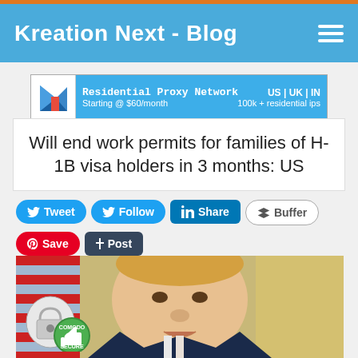Kreation Next - Blog
[Figure (other): Advertisement banner for Residential Proxy Network. US | UK | IN. Starting @ $60/month. 100k + residential ips.]
Will end work permits for families of H-1B visa holders in 3 months: US
[Figure (other): Social sharing buttons: Tweet, Follow, Share (LinkedIn), Buffer, Save (Pinterest), Post (Tumblr)]
[Figure (photo): Photo of a person (politician) speaking, with an American flag visible in the background and curtains. Comodo Secure badge in the lower left corner.]